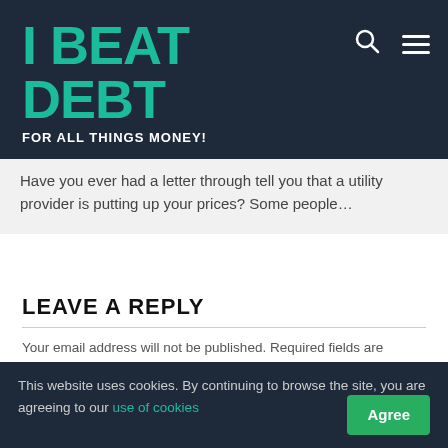I BEAT DEBT
FOR ALL THINGS MONEY!
Have you ever had a letter through tell you that a utility provider is putting up your prices? Some people…
LEAVE A REPLY
Your email address will not be published. Required fields are marked *
This website uses cookies. By continuing to browse the site, you are agreeing to our use of cookies  Agree